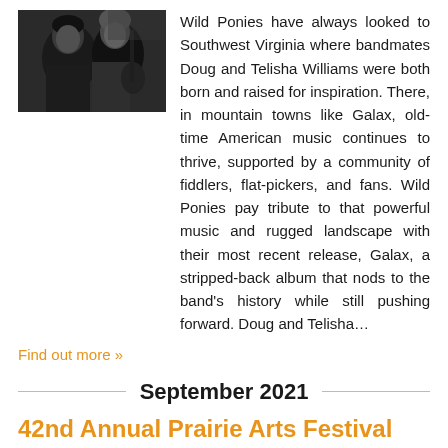[Figure (photo): Black and white photo of two musicians, one holding a guitar]
Wild Ponies have always looked to Southwest Virginia where bandmates Doug and Telisha Williams were both born and raised for inspiration. There, in mountain towns like Galax, old-time American music continues to thrive, supported by a community of fiddlers, flat-pickers, and fans. Wild Ponies pay tribute to that powerful music and rugged landscape with their most recent release, Galax, a stripped-back album that nods to the band's history while still pushing forward. Doug and Telisha…
Find out more »
September 2021
42nd Annual Prairie Arts Festival